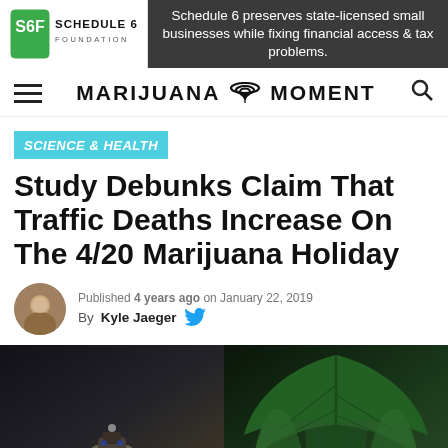[Figure (logo): Schedule 6 Foundation logo and ad banner: 'Schedule 6 preserves state-licensed small businesses while fixing financial access & tax problems.']
MARIJUANA MOMENT
SCIENCE & HEALTH
Study Debunks Claim That Traffic Deaths Increase On The 4/20 Marijuana Holiday
Published 4 years ago on January 22, 2019
By Kyle Jaeger
[Figure (photo): Split hero image: left half shows a hand holding a car key/remote in dark background; right half shows close-up of green cannabis leaves.]
SHARE   TWEET